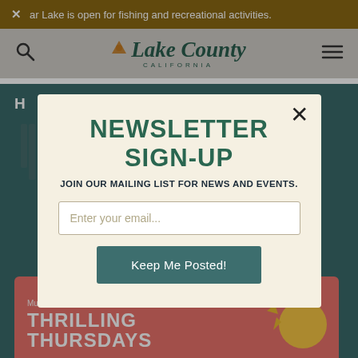✕ ar Lake is open for fishing and recreational activities.
[Figure (logo): Lake County California logo with mountain/pin icon and stylized italic script text]
H (breadcrumb navigation, partially visible)
NEWSLETTER SIGN-UP
JOIN OUR MAILING LIST FOR NEWS AND EVENTS.
Enter your email...
Keep Me Posted!
[Figure (illustration): Promotional card for Museums of Lake County Thrilling Thursdays event, coral/salmon background with yellow sun graphic]
Museums of Lake County
THRILLING
THURSDAYS